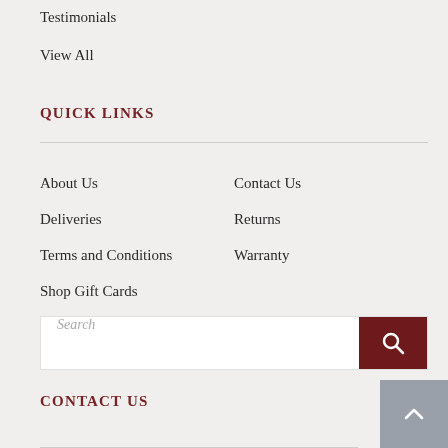Testimonials
View All
QUICK LINKS
About Us
Contact Us
Deliveries
Returns
Terms and Conditions
Warranty
Shop Gift Cards
Search
CONTACT US